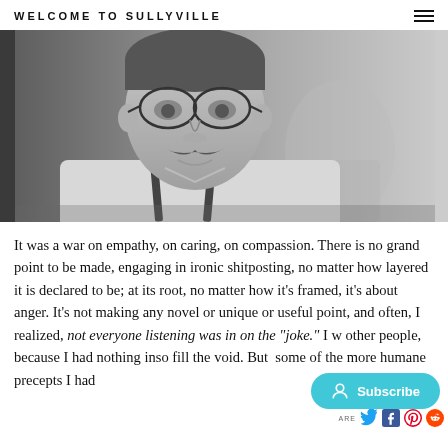WELCOME TO SULLYVILLE
[Figure (photo): Black and white photo of a man with glasses and a mustache, wearing a light shirt with suspenders, looking downward, with blurred background.]
It was a war on empathy, on caring, on compassion. There is no grand point to be made, engaging in ironic shitposting, no matter how layered it is declared to be; at its root, no matter how it's framed, it's about anger. It's not making any novel or unique or useful point, and often, I realized, not everyone listening was in on the "joke." I w[as hurting] other people, because I had nothing ins[ightful or funny t]o fill the void. But  some of the more humane precepts I had